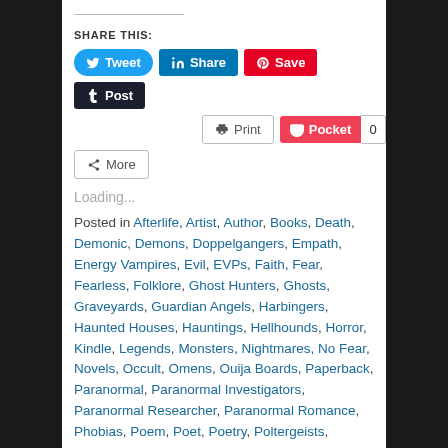SHARE THIS:
[Figure (screenshot): Social sharing buttons: Tweet (Twitter, blue), Share (LinkedIn, blue), Save (Pinterest, red), Post (Tumblr, dark navy), Print (white/grey), Pocket (red with count 0), More (white/grey)]
Loading...
Posted in Afterlife, Artist, Author, Books, Death, Demonic, Demons, Doppelgangers, Empath, Energy Vampires, Evil, EVPs, Faith, Fear, Fearless, Folklore, Ghost Hunters, Ghosts, Graveyards, Guardian Angels, Harbingers, Haunted Houses, Hauntings, Hellhounds, Horror, Kindle, Legends, Monsters, Nightmares, No Fear, Novels, Occult, Omens, Ouija Boards, Paperback, Paranormal, Paranormal Investigators, Paranormal Researcher, Paranormal Romance, Phobias, Poem, Poet, Poetry, Poltergeists, Premonitions, Reincarnation, Seers, Shadow People, Sheila Renee Parker, Sin Eaters, Sinister, Spirit